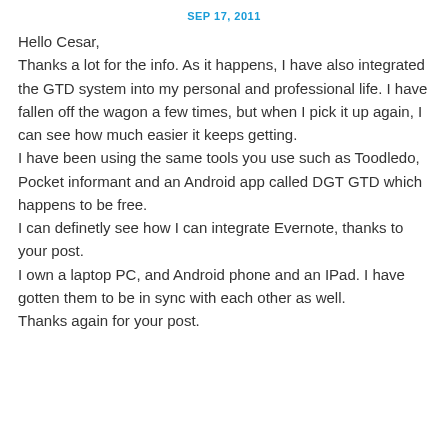SEP 17, 2011
Hello Cesar,
Thanks a lot for the info. As it happens, I have also integrated the GTD system into my personal and professional life. I have fallen off the wagon a few times, but when I pick it up again, I can see how much easier it keeps getting.
I have been using the same tools you use such as Toodledo, Pocket informant and an Android app called DGT GTD which happens to be free.
I can definetly see how I can integrate Evernote, thanks to your post.
I own a laptop PC, and Android phone and an IPad. I have gotten them to be in sync with each other as well.
Thanks again for your post.